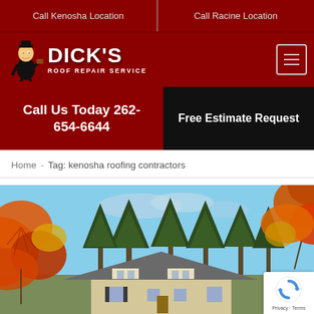Call Kenosha Location | Call Racine Location
[Figure (logo): Dick's Roof Repair Service logo with cartoon mascot holding a bucket, text reads DICK'S ROOF REPAIR SERVICE]
Call Us Today 262-654-6644
Free Estimate Request
Home - Tag: kenosha roofing contractors
[Figure (photo): Autumn scene with orange and red maple leaves in foreground, tall green pine trees in background, blue sky, and a house with a grey shingled roof visible at the bottom]